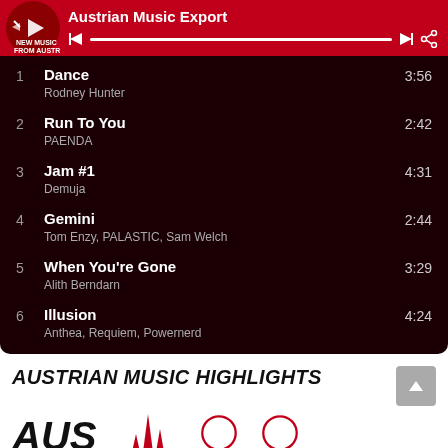Austrian Music Export
1  Dance  3:56
Rodney Hunter
2  Run To You  2:42
PAENDA
3  Jam #1  4:31
Demuja
4  Gemini  2:44
Tom Enzy, PALASTIC, Sam Welch
5  When You're Gone  3:29
Alith Berndarn
6  Illusion  4:24
Anthea, Requiem, Powernerd
AUSTRIAN MUSIC HIGHLIGHTS
[Figure (logo): Austrian Music Export logo and partial logos at the bottom]